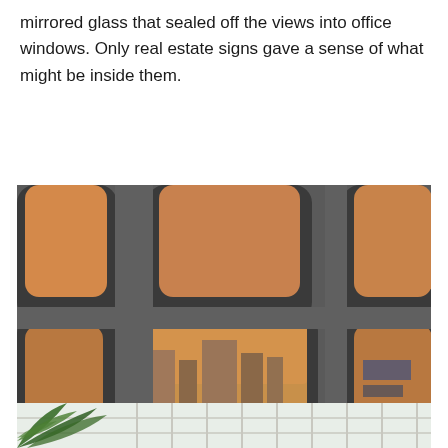mirrored glass that sealed off the views into office windows. Only real estate signs gave a sense of what might be inside them.
[Figure (photo): Close-up photograph of a building facade with large dark-framed rounded-square windows reflecting orange/amber sky and urban surroundings including buildings, green awning/vegetation, and parked cars below.]
[Figure (photo): Partial bottom photograph showing palm tree fronds and a grid/fence structure against a light sky.]